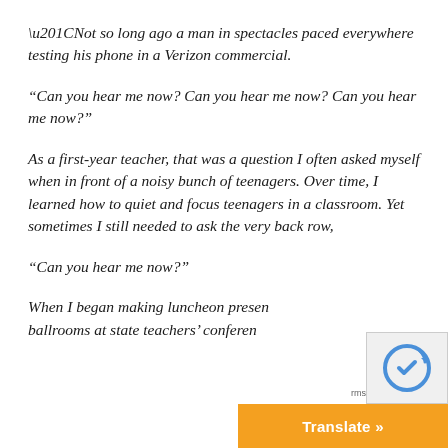“Not so long ago a man in spectacles paced everywhere testing his phone in a Verizon commercial.
“Can you hear me now? Can you hear me now? Can you hear me now?”
As a first-year teacher, that was a question I often asked myself when in front of a noisy bunch of teenagers. Over time, I learned how to quiet and focus teenagers in a classroom. Yet sometimes I still needed to ask the very back row,
“Can you hear me now?”
When I began making luncheon presentations in ballrooms at state teachers’ conferen…